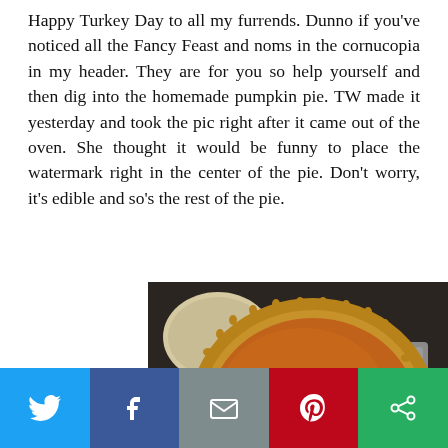Happy Turkey Day to all my furrends. Dunno if you've noticed all the Fancy Feast and noms in the cornucopia in my header. They are for you so help yourself and then dig into the homemade pumpkin pie. TW made it yesterday and took the pic right after it came out of the oven. She thought it would be funny to place the watermark right in the center of the pie. Don't worry, it's edible and so's the rest of the pie.
[Figure (photo): A freshly baked pumpkin pie in a pie tin on a baking tray, with an oven mitt visible in the background. A watermark reads www.stunningkeisha.com across the center of the pie.]
[Figure (infographic): Social media sharing bar with five buttons: Twitter (blue), Facebook (dark blue), Email (gray), Pinterest (red), and a green share button.]